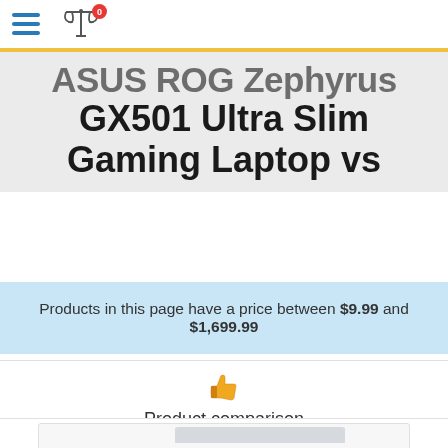Navigation bar with hamburger menu and compare icon (0 items)
GX501 Ultra Slim Gaming Laptop vs
Products in this page have a price between $9.99 and $1,699.99
Product comparison
5 products added
[Figure (screenshot): Bottom portion of a product comparison page showing a laptop product card image cutoff at bottom]